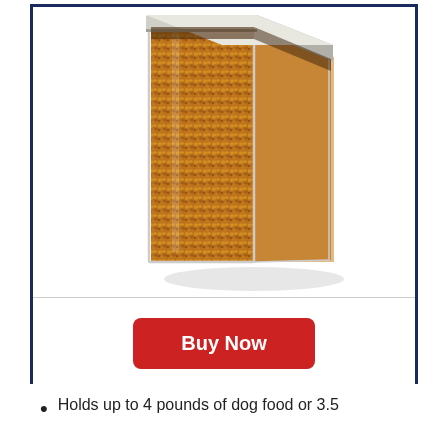[Figure (photo): A clear square/rectangular container filled with brown and golden dog food kibble, with a transparent lid, shown with a slight shadow on a white background. The container is a pet food storage container.]
Buy Now
Holds up to 4 pounds of dog food or 3.5